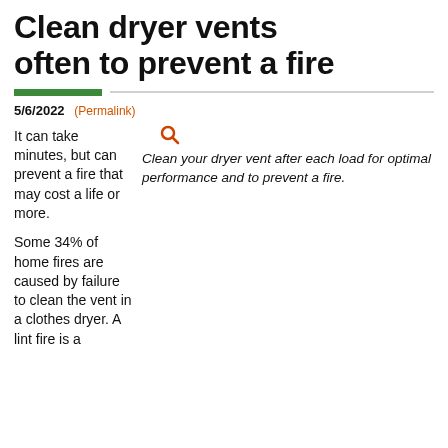Clean dryer vents often to prevent a fire
5/6/2022 (Permalink)
It can take minutes, but can prevent a fire that may cost a life or more.

Some 34% of home fires are caused by failure to clean the vent in a clothes dryer. A lint fire is a
[Figure (photo): Photo of washing machines and dryer engulfed in large flames inside a room, illustrating a dryer fire hazard.]
Clean your dryer vent after each load for optimal performance and to prevent a fire.